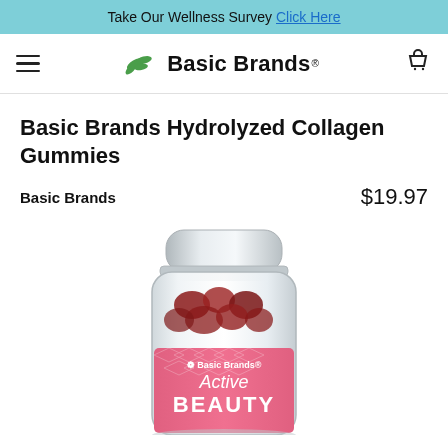Take Our Wellness Survey Click Here
Basic Brands
Basic Brands Hydrolyzed Collagen Gummies
Basic Brands   $19.97
[Figure (photo): A bottle of Basic Brands Active Beauty Hydrolyzed Collagen Gummies supplement. The bottle has a white cap, clear sides showing red/dark gummies inside, and a pink label with decorative diamond pattern reading 'Basic Brands Active BEAUTY'.]